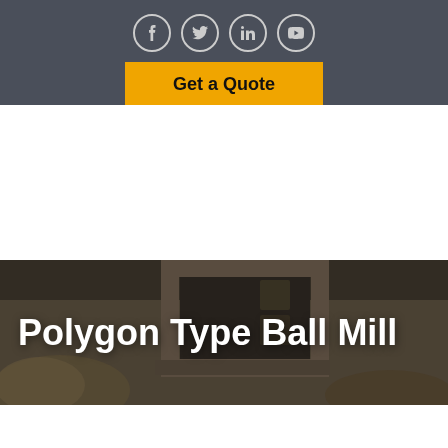[Figure (screenshot): Social media icons (Facebook, Twitter, LinkedIn, YouTube) in circular outlined buttons on dark gray background, followed by a yellow 'Get a Quote' button]
[Figure (photo): Dark-toned interior room photo with a fireplace in background and cushions/pillows in foreground, used as hero section background]
Polygon Type Ball Mill